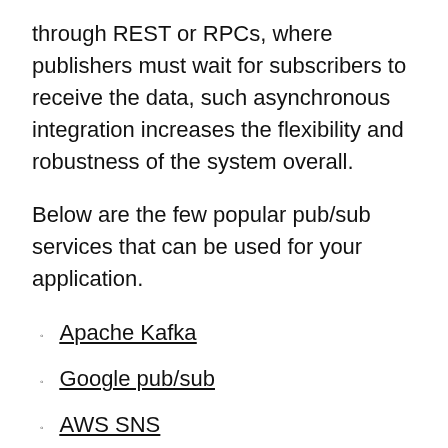through REST or RPCs, where publishers must wait for subscribers to receive the data, such asynchronous integration increases the flexibility and robustness of the system overall.
Below are the few popular pub/sub services that can be used for your application.
Apache Kafka
Google pub/sub
AWS SNS
Redis pub/sub